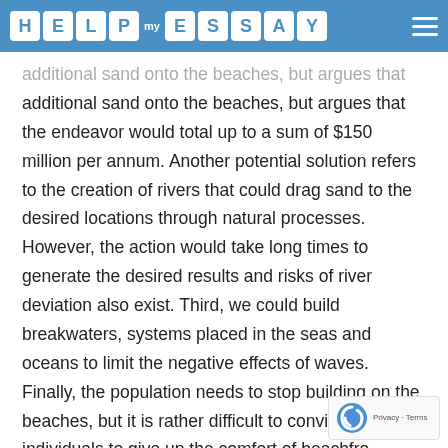HELP my ESSAY
additional sand onto the beaches, but argues that the endeavor would total up to a sum of $150 million per annum. Another potential solution refers to the creation of rivers that could drag sand to the desired locations through natural processes. However, the action would take long times to generate the desired results and risks of river deviation also exist. Third, we could build breakwaters, systems placed in the seas and oceans to limit the negative effects of waves. Finally, the population needs to stop building on the beaches, but it is rather difficult to convince individuals to give up the comfort of beachfro...